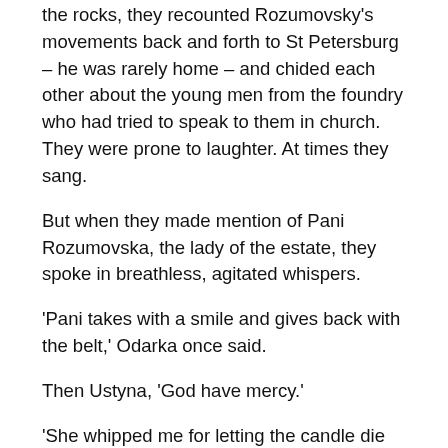the rocks, they recounted Rozumovsky's movements back and forth to St Petersburg – he was rarely home – and chided each other about the young men from the foundry who had tried to speak to them in church. They were prone to laughter. At times they sang.
But when they made mention of Pani Rozumovska, the lady of the estate, they spoke in breathless, agitated whispers.
'Pani takes with a smile and gives back with the belt,' Odarka once said.
Then Ustyna, 'God have mercy.'
'She whipped me for letting the candle die out during prayers last night. She called me a sinner,' Olesya reported.
And Ustyna, 'The devil always hides behind a cross.'
'She beat old Paraska to a pulp for picking apples and giving them to the village children,' Odarka recalled. 'She